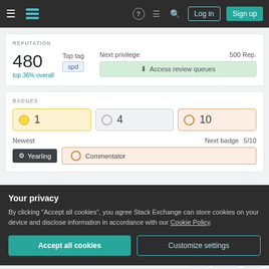Stack Exchange navigation bar with Log in and Sign up buttons
REPUTATION
480 top 36% overall
Top tag: spd
Next privilege 500 Rep. Access review queues
BADGES
Gold: 1, Silver: 4, Bronze: 10
Newest: Yearling
Next badge 5/10: Commentator
Your privacy
By clicking "Accept all cookies", you agree Stack Exchange can store cookies on your device and disclose information in accordance with our Cookie Policy.
Accept all cookies | Customize settings